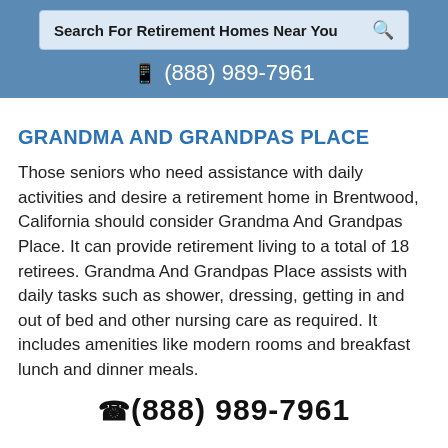Search For Retirement Homes Near You
(888) 989-7961
GRANDMA AND GRANDPAS PLACE
Those seniors who need assistance with daily activities and desire a retirement home in Brentwood, California should consider Grandma And Grandpas Place. It can provide retirement living to a total of 18 retirees. Grandma And Grandpas Place assists with daily tasks such as shower, dressing, getting in and out of bed and other nursing care as required. It includes amenities like modern rooms and breakfast lunch and dinner meals.
(888) 989-7961